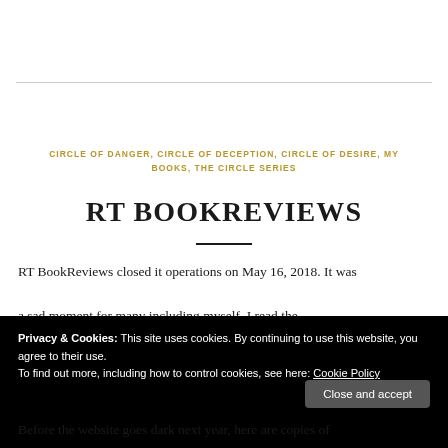CIRCLE OF DANGER, CIRCLE OF DECEPTION, CIRCLE OF DESIRE, MY BOOKS, THE CIRCLE SERIES
RT BOOKREVIEWS
RT BookReviews closed it operations on May 16, 2018. It was a sad moment for many including myself. I read the
Privacy & Cookies: This site uses cookies. By continuing to use this website, you agree to their use.
To find out more, including how to control cookies, see here: Cookie Policy
Before the website goes dark next year, here are copies of